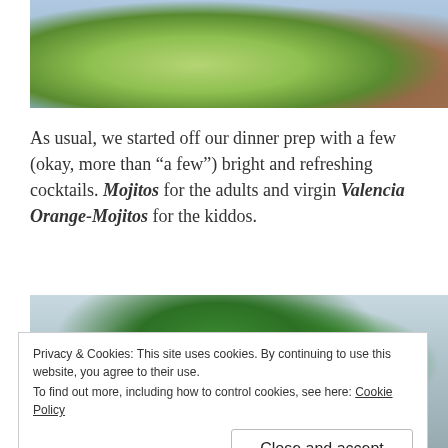[Figure (photo): Close-up photo of green melons or similar round green fruit on a wooden surface with blue background]
As usual, we started off our dinner prep with a few (okay, more than “a few”) bright and refreshing cocktails. Mojitos for the adults and virgin Valencia Orange-Mojitos for the kiddos.
[Figure (photo): Photo of a glass with ice and fresh mint leaves for a mojito cocktail]
Privacy & Cookies: This site uses cookies. By continuing to use this website, you agree to their use.
To find out more, including how to control cookies, see here: Cookie Policy
Close and accept